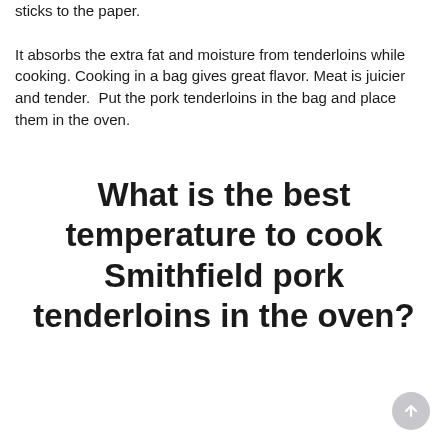sticks to the paper.

It absorbs the extra fat and moisture from tenderloins while cooking. Cooking in a bag gives great flavor. Meat is juicier and tender.  Put the pork tenderloins in the bag and place them in the oven.
What is the best temperature to cook Smithfield pork tenderloins in the oven?